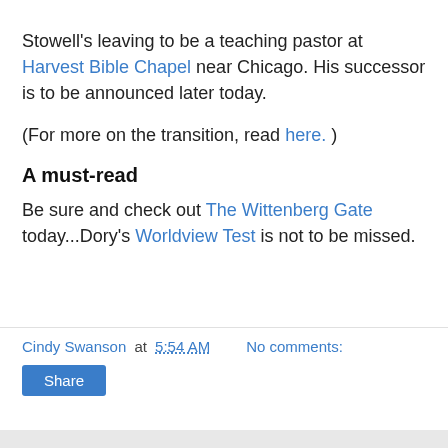Stowell's leaving to be a teaching pastor at Harvest Bible Chapel near Chicago. His successor is to be announced later today.
(For more on the transition, read here. )
A must-read
Be sure and check out The Wittenberg Gate today...Dory's Worldview Test is not to be missed.
Cindy Swanson at 5:54 AM   No comments:
Share